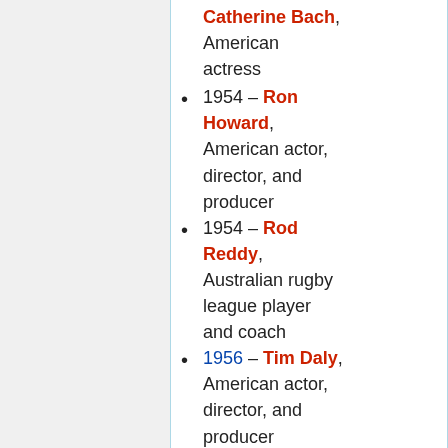Catherine Bach, American actress
1954 – Ron Howard, American actor, director, and producer
1954 – Rod Reddy, Australian rugby league player and coach
1956 – Tim Daly, American actor, director, and producer
1956 – Dalia Grybauskaitė, Lithuanian